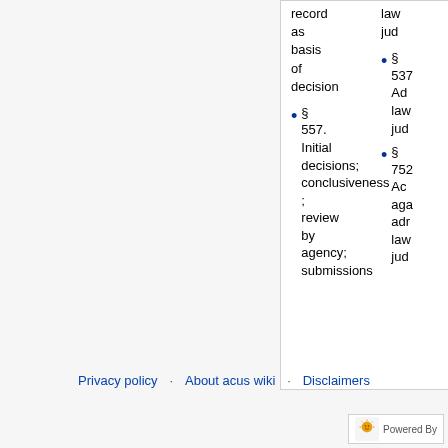record as basis of decision
§ 557. Initial decisions; conclusiveness; review by agency; submissions
§ 537. Administrative law judiciary
§ 752. Act against administrative law judiciary
Privacy policy   About acus wiki   Disclaimers